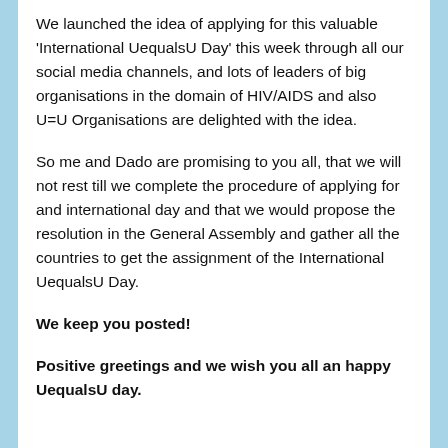We launched the idea of applying for this valuable 'International UequalsU Day' this week through all our social media channels, and lots of leaders of big organisations in the domain of HIV/AIDS and also U=U Organisations are delighted with the idea.
So me and Dado are promising to you all, that we will not rest till we complete the procedure of applying for and international day and that we would propose the resolution in the General Assembly and gather all the countries to get the assignment of the International UequalsU Day.
We keep you posted!
Positive greetings and we wish you all an happy UequalsU day.